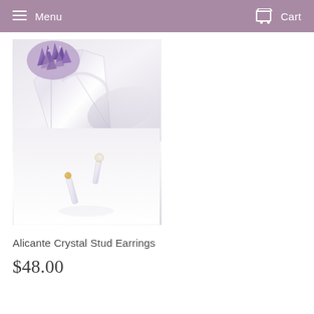Menu  Cart
[Figure (photo): Product photo of crystal stud earrings with amethyst cluster and clear quartz crystal in the upper portion, and two crystal bar stud earrings with pearl tops in the lower portion, on a white background]
Alicante Crystal Stud Earrings
$48.00